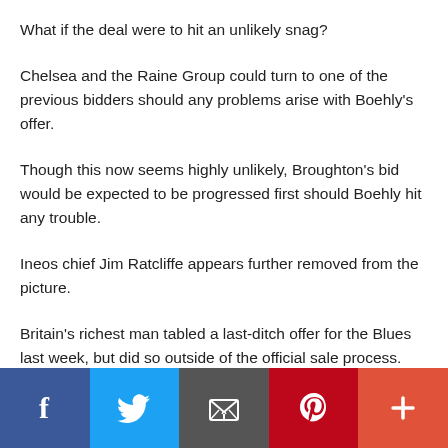What if the deal were to hit an unlikely snag?
Chelsea and the Raine Group could turn to one of the previous bidders should any problems arise with Boehly's offer.
Though this now seems highly unlikely, Broughton's bid would be expected to be progressed first should Boehly hit any trouble.
Ineos chief Jim Ratcliffe appears further removed from the picture.
Britain's richest man tabled a last-ditch offer for the Blues last week, but did so outside of the official sale process.
[Figure (infographic): Social media sharing bar with Facebook, Twitter, email, Pinterest, and more buttons]